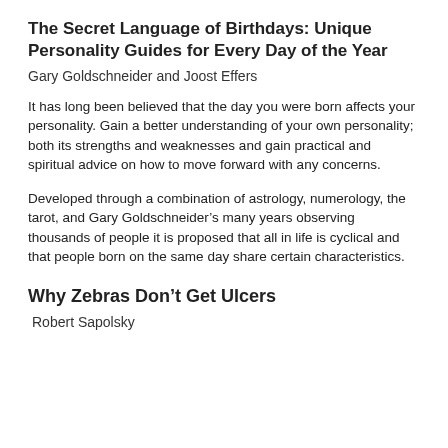The Secret Language of Birthdays: Unique Personality Guides for Every Day of the Year
Gary Goldschneider and Joost Effers
It has long been believed that the day you were born affects your personality. Gain a better understanding of your own personality; both its strengths and weaknesses and gain practical and spiritual advice on how to move forward with any concerns.
Developed through a combination of astrology, numerology, the tarot, and Gary Goldschneider’s many years observing thousands of people it is proposed that all in life is cyclical and that people born on the same day share certain characteristics.
Why Zebras Don’t Get Ulcers
Robert Sapolsky